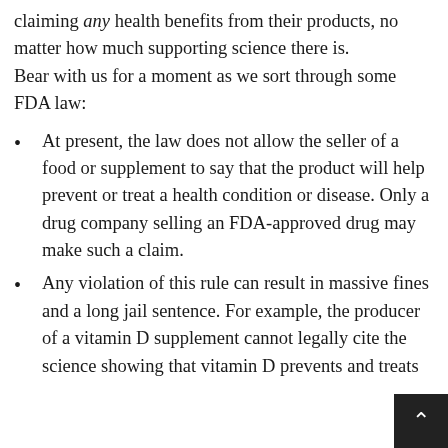claiming any health benefits from their products, no matter how much supporting science there is.
Bear with us for a moment as we sort through some FDA law:
At present, the law does not allow the seller of a food or supplement to say that the product will help prevent or treat a health condition or disease. Only a drug company selling an FDA-approved drug may make such a claim.
Any violation of this rule can result in massive fines and a long jail sentence. For example, the producer of a vitamin D supplement cannot legally cite the science showing that vitamin D prevents and treats